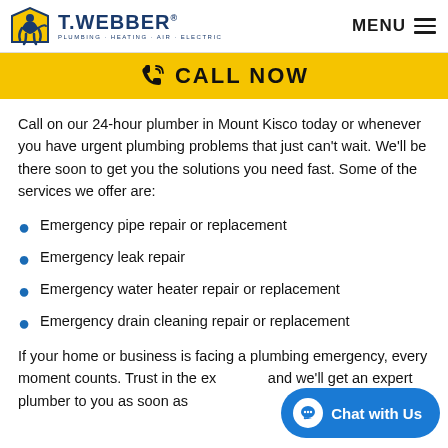[Figure (logo): T.Webber Plumbing Heating Air Electric company logo with yellow and blue mascot icon]
MENU
[Figure (infographic): Yellow call-to-action bar with phone icon and CALL NOW text]
Call on our 24-hour plumber in Mount Kisco today or whenever you have urgent plumbing problems that just can't wait. We'll be there soon to get you the solutions you need fast. Some of the services we offer are:
Emergency pipe repair or replacement
Emergency leak repair
Emergency water heater repair or replacement
Emergency drain cleaning repair or replacement
If your home or business is facing a plumbing emergency, every moment counts. Trust in the ex and we'll get an expert plumber to you as soon as
[Figure (infographic): Blue chat widget button at bottom right with chat bubble icon and Chat with Us text]